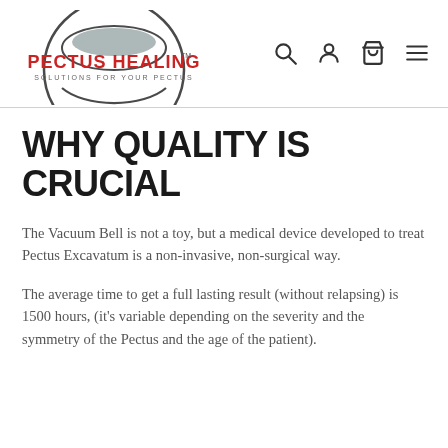[Figure (logo): Pectus Healing logo with circular design, red text 'PECTUS HEALING' and tagline 'SOLUTIONS FOR YOUR PECTUS']
WHY QUALITY IS CRUCIAL
The Vacuum Bell is not a toy, but a medical device developed to treat Pectus Excavatum is a non-invasive, non-surgical way.
The average time to get a full lasting result (without relapsing) is 1500 hours, (it's variable depending on the severity and the symmetry of the Pectus and the age of the patient).